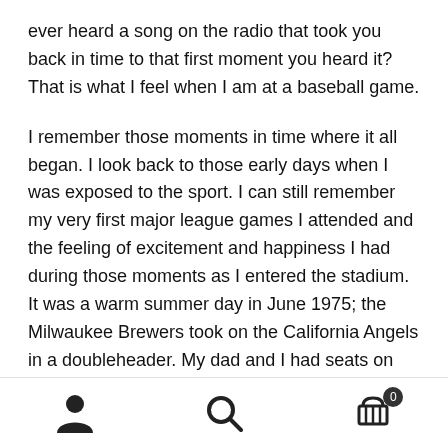ever heard a song on the radio that took you back in time to that first moment you heard it? That is what I feel when I am at a baseball game.
I remember those moments in time where it all began. I look back to those early days when I was exposed to the sport. I can still remember my very first major league games I attended and the feeling of excitement and happiness I had during those moments as I entered the stadium. It was a warm summer day in June 1975; the Milwaukee Brewers took on the California Angels in a doubleheader. My dad and I had seats on the third base side of County Stadium.
I focused on, George “The Boomer” Scott playing 1st base
[navigation icons: person, search, cart with badge 0]